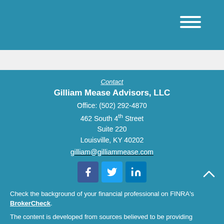Gilliam Mease Advisors website header with navigation hamburger menu
Contact
Gilliam Mease Advisors, LLC
Office: (502) 292-4870
462 South 4th Street
Suite 220
Louisville, KY 40202
gilliam@gilliammease.com
[Figure (infographic): Social media icons for Facebook, Twitter, and LinkedIn]
Check the background of your financial professional on FINRA's BrokerCheck.
The content is developed from sources believed to be providing